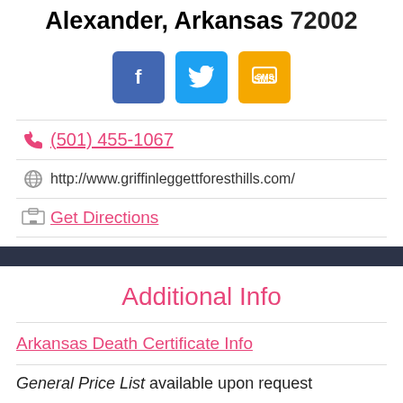Alexander, Arkansas 72002
[Figure (infographic): Three social sharing buttons: Facebook (blue), Twitter (light blue), SMS (yellow/gold)]
(501) 455-1067
http://www.griffinleggettforesthills.com/
Get Directions
Additional Info
Arkansas Death Certificate Info
General Price List available upon request